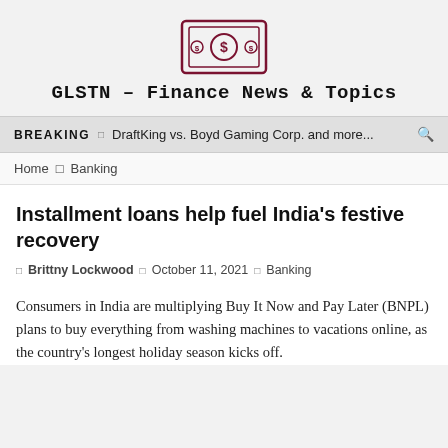[Figure (logo): Dollar bill icon with two dollar signs inside a rectangular border]
GLSTN – Finance News & Topics
BREAKING  □  DraftKing vs. Boyd Gaming Corp. and more...
Home  □  Banking
Installment loans help fuel India's festive recovery
□ Brittny Lockwood  □ October 11, 2021  □ Banking
Consumers in India are multiplying Buy It Now and Pay Later (BNPL) plans to buy everything from washing machines to vacations online, as the country's longest holiday season kicks off.